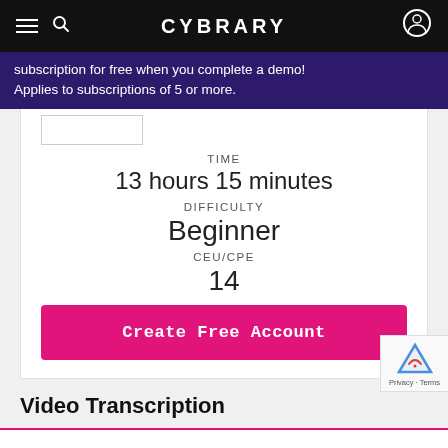CYBRARY
subscription for free when you complete a demo! Applies to subscriptions of 5 or more.
TIME
13 hours 15 minutes
DIFFICULTY
Beginner
CEU/CPE
14
Create Free Account
Video Transcription